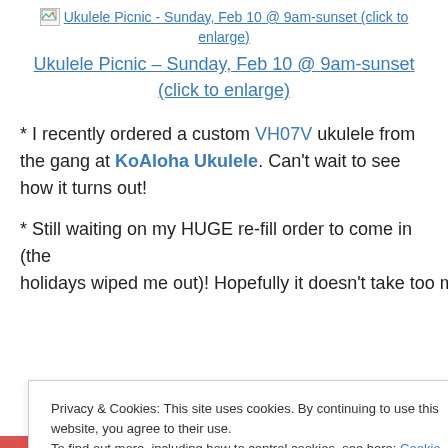[Figure (screenshot): Broken image icon with link text: Ukulele Picnic - Sunday, Feb 10 @ 9am-sunset (click to enlarge)]
Ukulele Picnic – Sunday, Feb 10 @ 9am-sunset (click to enlarge)
* I recently ordered a custom VH07V ukulele from the gang at KoAloha Ukulele. Can't wait to see how it turns out!
* Still waiting on my HUGE re-fill order to come in (the holidays wiped me out)! Hopefully it doesn't take too much
Privacy & Cookies: This site uses cookies. By continuing to use this website, you agree to their use.
To find out more, including how to control cookies, see here: Cookie Policy